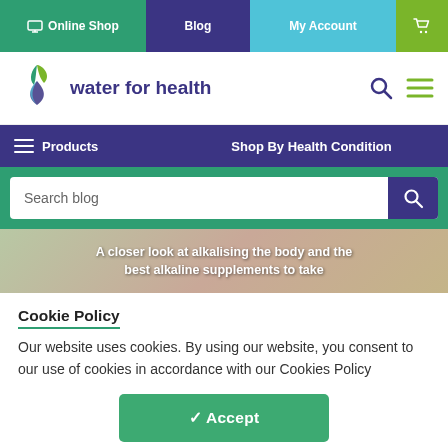Online Shop | Blog | My Account | [cart]
[Figure (logo): Water for Health logo with plant and water drop icon]
Products | Shop By Health Condition
Search blog
[Figure (photo): A closer look at alkalising the body and the best alkaline supplements to take]
Cookie Policy
Our website uses cookies. By using our website, you consent to our use of cookies in accordance with our Cookies Policy